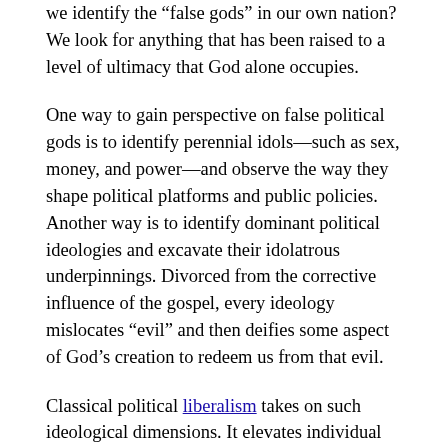we identify the “false gods” in our own nation? We look for anything that has been raised to a level of ultimacy that God alone occupies.
One way to gain perspective on false political gods is to identify perennial idols—such as sex, money, and power—and observe the way they shape political platforms and public policies. Another way is to identify dominant political ideologies and excavate their idolatrous underpinnings. Divorced from the corrective influence of the gospel, every ideology mislocates “evil” and then deifies some aspect of God’s creation to redeem us from that evil.
Classical political liberalism takes on such ideological dimensions. It elevates individual freedom and autonomy to ultimate status. This can manifest in a sort of social progressivism, because when individual autonomy is made the chief moral arbiter, norms are liable to constant change. The epitome of our societal obsession with the liberal ideology (and idolatry) is the cliché, “Follow your heart.” Which is another way of saying, “I have the right to do whatever I please.” The deleterious